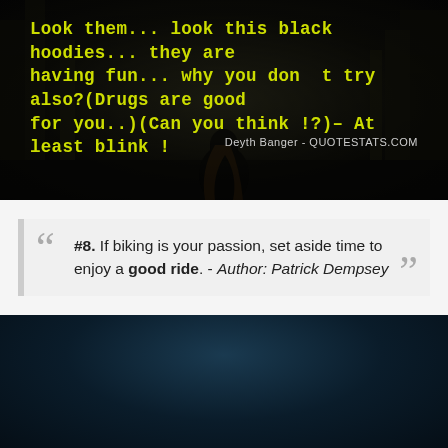[Figure (photo): Dark atmospheric image with a silhouetted figure with long hair, forest background, overlaid with yellow-green monospace quote text and attribution]
Look them... look this black hoodies... they are having fun... why you don t try also?(Drugs are good for you..)(Can you think !?)- At least blink!
Deyth Banger - QUOTESTATS.COM
#8. If biking is your passion, set aside time to enjoy a good ride. - Author: Patrick Dempsey
[Figure (photo): Dark blue/teal atmospheric background image, appears to be a lower portion of a scene]